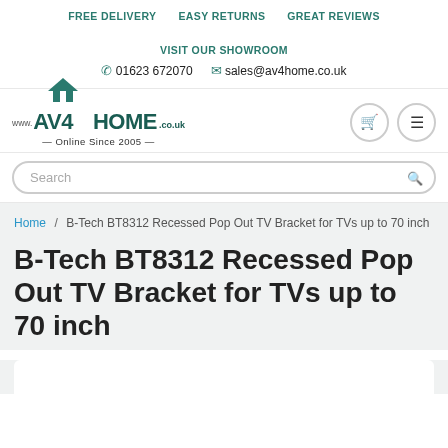FREE DELIVERY   EASY RETURNS   GREAT REVIEWS   VISIT OUR SHOWROOM
01623 672070   sales@av4home.co.uk
[Figure (logo): www.AV4HOME.co.uk logo with house icon and tagline Online Since 2005]
Search
Home / B-Tech BT8312 Recessed Pop Out TV Bracket for TVs up to 70 inch
B-Tech BT8312 Recessed Pop Out TV Bracket for TVs up to 70 inch